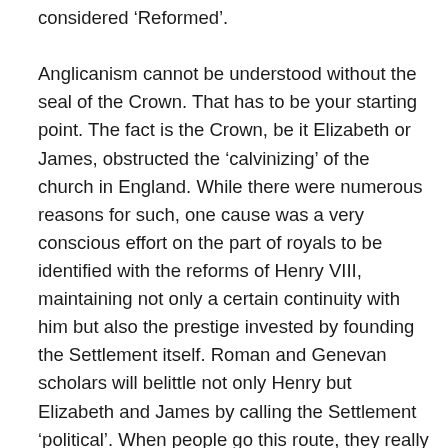considered 'Reformed'. Anglicanism cannot be understood without the seal of the Crown. That has to be your starting point. The fact is the Crown, be it Elizabeth or James, obstructed the 'calvinizing' of the church in England. While there were numerous reasons for such, one cause was a very conscious effort on the part of royals to be identified with the reforms of Henry VIII, maintaining not only a certain continuity with him but also the prestige invested by founding the Settlement itself. Roman and Genevan scholars will belittle not only Henry but Elizabeth and James by calling the Settlement 'political'. When people go this route, they really debase the integrity of the standards. Either the standards are mistaken breeches from Romanism, or they are still-birth attempts at Calvinism. Either way, Anglicanism is treated as something